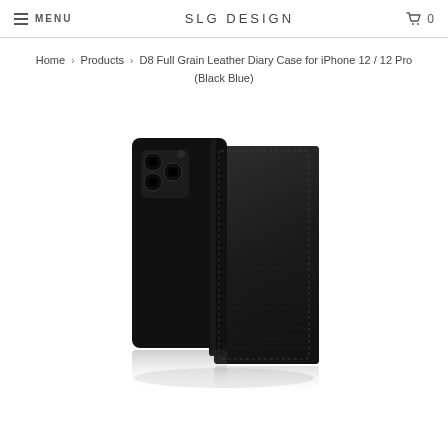MENU | SLG DESIGN | 0
Home > Products > D8 Full Grain Leather Diary Case for iPhone 12 / 12 Pro (Black Blue)
[Figure (photo): Black leather diary-style flip case for iPhone 12 / 12 Pro, shown open at an angle revealing the phone's camera on the back and the leather cover panel, with a subtle reflection below.]